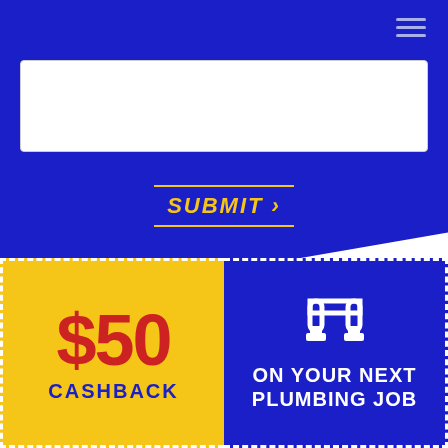[Figure (screenshot): Blue diagonal background section with hamburger menu icon in top right corner]
[Figure (screenshot): White text input/textarea box on blue background]
SUBMIT >
[Figure (infographic): $50 CASHBACK ON YOUR NEXT PLUMBING JOB promotional banner split into yellow left half with $50 CASHBACK in red/blue text and blue right half with plumbing magnet icon and white text ON YOUR NEXT PLUMBING JOB]